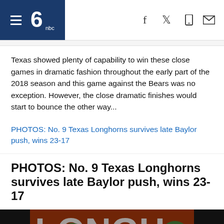NBC Sports navigation bar with hamburger menu, NBC logo, and icons for Facebook, Twitter, mobile, and email
Texas showed plenty of capability to win these close games in dramatic fashion throughout the early part of the 2018 season and this game against the Bears was no exception. However, the close dramatic finishes would start to bounce the other way...
PHOTOS: No. 9 Texas Longhorns survives late Baylor push, wins 23-17
PHOTOS: No. 9 Texas Longhorns survives late Baylor push, wins 23-17
[Figure (photo): Football game action photo showing Baylor Bears (green helmets) and Texas Longhorns (orange/white) players in a tackle during the game, with 'LONGH' visible on an orange banner in the background.]